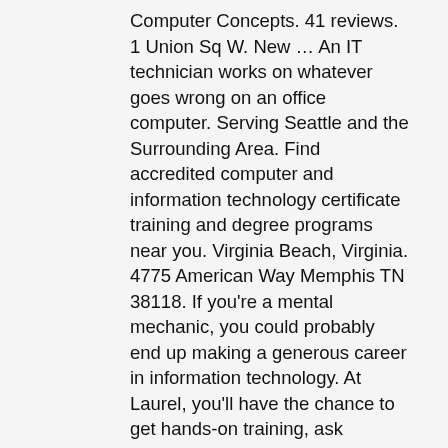Computer Concepts. 41 reviews. 1 Union Sq W. New … An IT technician works on whatever goes wrong on an office computer. Serving Seattle and the Surrounding Area. Find accredited computer and information technology certificate training and degree programs near you. Virginia Beach, Virginia. 4775 American Way Memphis TN 38118. If you're a mental mechanic, you could probably end up making a generous career in information technology. At Laurel, you'll have the chance to get hands-on training, ask questions, contribute to discussions and build relationships in our small classes. While computer repair courses online free … For this reason, it is essential to take into account technology as a vital part of our education. 18,516 PC Technician jobs available on Indeed.com. Investigative reporter Sarah Wallace visited Lincoln Tech's Mahwah, NJ campus to show how a safe reopening of a hands-on trade school should look. Find your next job near you & 1-Click Apply! It's also possible to earn a salary that is far above average. Flexible Day, Evening & Weekend Class Schedules. Search results are sorted by